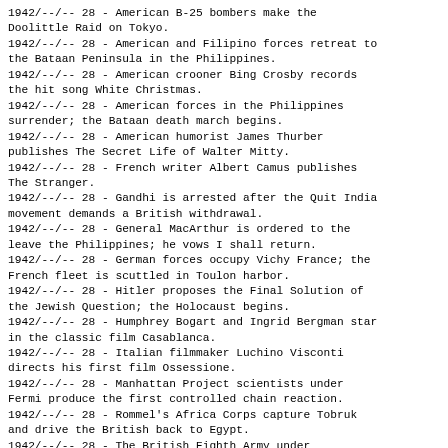1942/--/-- 28 - American B-25 bombers make the Doolittle Raid on Tokyo.
1942/--/-- 28 - American and Filipino forces retreat to the Bataan Peninsula in the Philippines.
1942/--/-- 28 - American crooner Bing Crosby records the hit song White Christmas.
1942/--/-- 28 - American forces in the Philippines surrender; the Bataan death march begins.
1942/--/-- 28 - American humorist James Thurber publishes The Secret Life of Walter Mitty.
1942/--/-- 28 - French writer Albert Camus publishes The Stranger.
1942/--/-- 28 - Gandhi is arrested after the Quit India movement demands a British withdrawal.
1942/--/-- 28 - General MacArthur is ordered to the leave the Philippines; he vows I shall return.
1942/--/-- 28 - German forces occupy Vichy France; the French fleet is scuttled in Toulon harbor.
1942/--/-- 28 - Hitler proposes the Final Solution of the Jewish Question; the Holocaust begins.
1942/--/-- 28 - Humphrey Bogart and Ingrid Bergman star in the classic film Casablanca.
1942/--/-- 28 - Italian filmmaker Luchino Visconti directs his first film Ossessione.
1942/--/-- 28 - Manhattan Project scientists under Fermi produce the first controlled chain reaction.
1942/--/-- 28 - Rommel's Africa Corps capture Tobruk and drive the British back to Egypt.
1942/--/-- 28 - The British Eighth Army under Montgomery begins a new drive into Libya.
1942/--/-- 28 - The S...